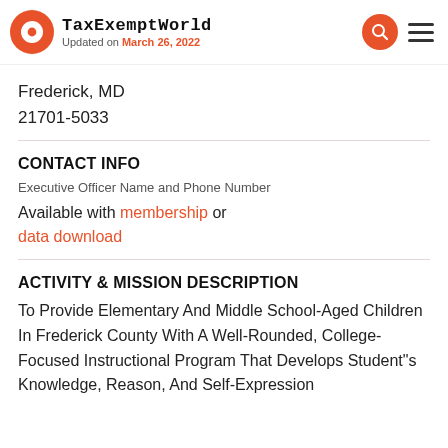TaxExemptWorld — Updated on March 26, 2022
Frederick, MD
21701-5033
CONTACT INFO
Executive Officer Name and Phone Number
Available with membership or data download
ACTIVITY & MISSION DESCRIPTION
To Provide Elementary And Middle School-Aged Children In Frederick County With A Well-Rounded, College-Focused Instructional Program That Develops Student"s Knowledge, Reason, And Self-Expression